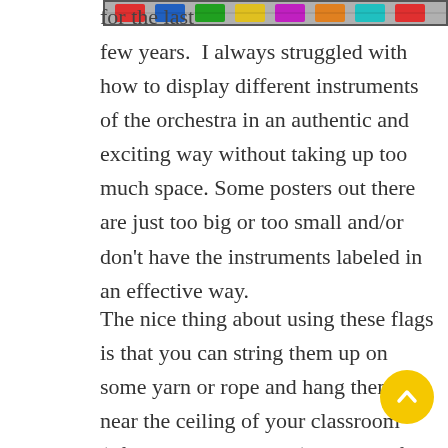[Figure (photo): Partial image of orchestra instrument flags/banners visible at top right of page]
for the last few years.  I always struggled with how to display different instruments of the orchestra in an authentic and exciting way without taking up too much space. Some posters out there are just too big or too small and/or don't have the instruments labeled in an effective way.

The nice thing about using these flags is that you can string them up on some yarn or rope and hang them up near the ceiling of your classroom (often an unused space).  They're fun and colorful and look like a decoration but also serve an important purpose for instruction. More than once I've seen kids looking up at the